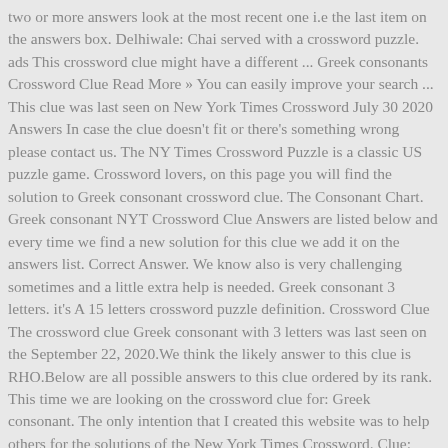two or more answers look at the most recent one i.e the last item on the answers box. Delhiwale: Chai served with a crossword puzzle. ads This crossword clue might have a different ... Greek consonants Crossword Clue Read More » You can easily improve your search ... This clue was last seen on New York Times Crossword July 30 2020 Answers In case the clue doesn't fit or there's something wrong please contact us. The NY Times Crossword Puzzle is a classic US puzzle game. Crossword lovers, on this page you will find the solution to Greek consonant crossword clue. The Consonant Chart. Greek consonant NYT Crossword Clue Answers are listed below and every time we find a new solution for this clue we add it on the answers list. Correct Answer. We know also is very challenging sometimes and a little extra help is needed. Greek consonant 3 letters. it's A 15 letters crossword puzzle definition. Crossword Clue The crossword clue Greek consonant with 3 letters was last seen on the September 22, 2020.We think the likely answer to this clue is RHO.Below are all possible answers to this clue ordered by its rank. This time we are looking on the crossword clue for: Greek consonant. The only intention that I created this website was to help others for the solutions of the New York Times Crossword. Clue: Greek consonant. The Crossword Solver found 20 answers to the greek consonant